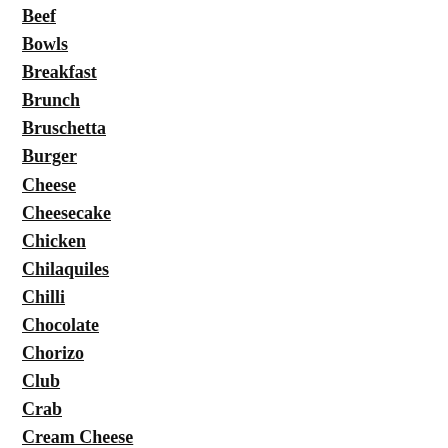Beef
Bowls
Breakfast
Brunch
Bruschetta
Burger
Cheese
Cheesecake
Chicken
Chilaquiles
Chilli
Chocolate
Chorizo
Club
Crab
Cream Cheese
Dessert
Drink